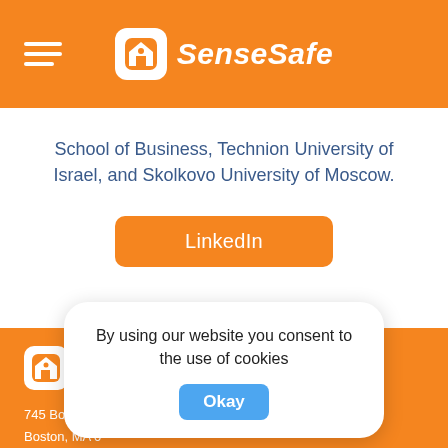SenseSafe
School of Business, Technion University of Israel, and Skolkovo University of Moscow.
LinkedIn
SenseSafe
745 Boylston St
Boston, MA 0
617-610-515
By using our website you consent to the use of cookies Okay